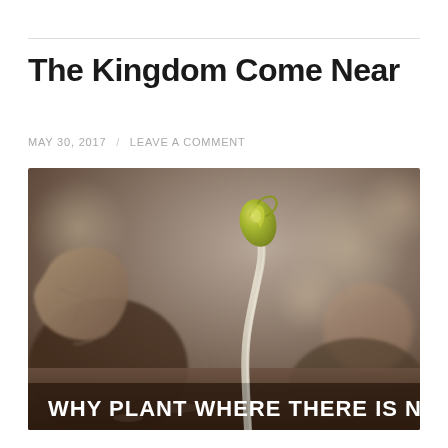The Kingdom Come Near
MAY 30, 2017  /  LEAVE A COMMENT
[Figure (photo): Close-up macro photograph of a seedling sprout emerging from soil and dead leaves, with blurred background. Text overlay reads: WHY PLANT WHERE THERE IS NO SOIL?]